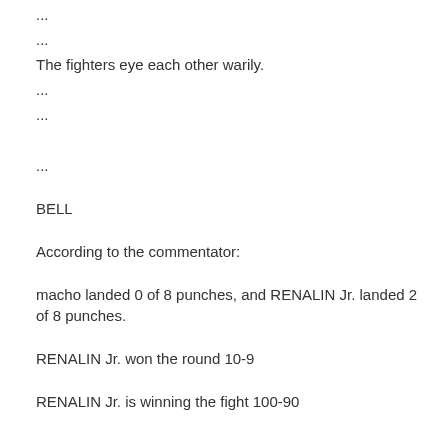...
...
The fighters eye each other warily.
...
...
...
BELL
According to the commentator:
macho landed 0 of 8 punches, and RENALIN Jr. landed 2 of 8 punches.
RENALIN Jr. won the round 10-9
RENALIN Jr. is winning the fight 100-90